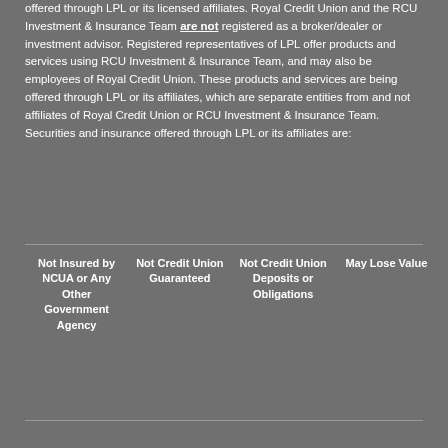broker/dealer (Member FINRA/SIPC). Insurance products are offered through LPL or its licensed affiliates. Royal Credit Union and the RCU Investment & Insurance Team are not registered as a broker/dealer or investment advisor. Registered representatives of LPL offer products and services using RCU Investment & Insurance Team, and may also be employees of Royal Credit Union. These products and services are being offered through LPL or its affiliates, which are separate entities from and not affiliates of Royal Credit Union or RCU Investment & Insurance Team. Securities and insurance offered through LPL or its affiliates are:
| Not Insured by NCUA or Any Other Government Agency | Not Credit Union Guaranteed | Not Credit Union Deposits or Obligations | May Lose Value |
| --- | --- | --- | --- |